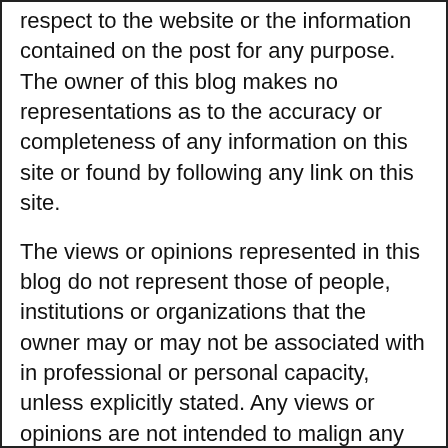respect to the website or the information contained on the post for any purpose. The owner of this blog makes no representations as to the accuracy or completeness of any information on this site or found by following any link on this site.
The views or opinions represented in this blog do not represent those of people, institutions or organizations that the owner may or may not be associated with in professional or personal capacity, unless explicitly stated. Any views or opinions are not intended to malign any religion, ethnic group, club, organization, company, or individual.
The owner will not be liable for any errors or